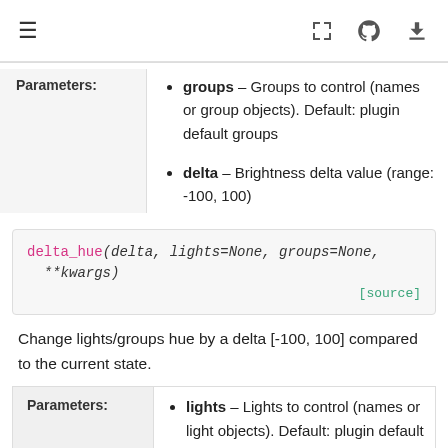[navigation bar with hamburger menu, fullscreen, GitHub, and download icons]
groups – Groups to control (names or group objects). Default: plugin default groups
delta – Brightness delta value (range: -100, 100)
delta_hue(delta, lights=None, groups=None, **kwargs) [source]
Change lights/groups hue by a delta [-100, 100] compared to the current state.
lights – Lights to control (names or light objects). Default: plugin default lights